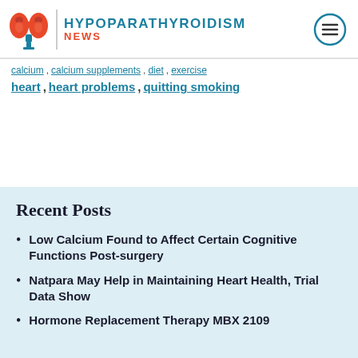HYPOPARATHYROIDISM NEWS
heart, heart problems, quitting smoking
Recent Posts
Low Calcium Found to Affect Certain Cognitive Functions Post-surgery
Natpara May Help in Maintaining Heart Health, Trial Data Show
Hormone Replacement Therapy MBX 2109